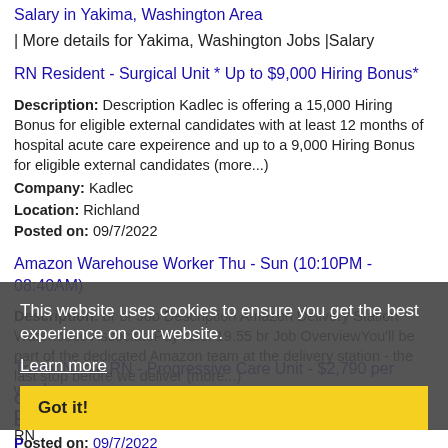Salary in Yakima, Washington Area | More details for Yakima, Washington Jobs |Salary
RN Resident - Surgical Unit * Up to $9,000 Hiring Bonus*
Description: Description Kadlec is offering a 15,000 Hiring Bonus for eligible external candidates with at least 12 months of hospital acute care expeirence and up to a 9,000 Hiring Bonus for eligible external candidates (more...)
Company: Kadlec
Location: Richland
Posted on: 09/7/2022
Amazon Warehouse Worker Thu - Sun (10:10PM - 08:40AM)
Description: br br Job Description Amazon Delivery Station Warehouse AssociatePay rate: 19.55 br Job OverviewYou'll be part of the dedicated Amazon team at the delivery station - the last stop before we deliver (more...)
Company: Amazon
Location: Auburn
Posted on: 09/7/2022
[Figure (screenshot): Cookie consent overlay with dark background saying 'This website uses cookies to ensure you get the best experience on our website.' with a 'Learn more' link and a yellow 'Got it!' button bar.]
Travel Nurse RN - Progressive Care Unit - $2,790 per week
Description: Amare Medical Network is seeking a travel nurse RN